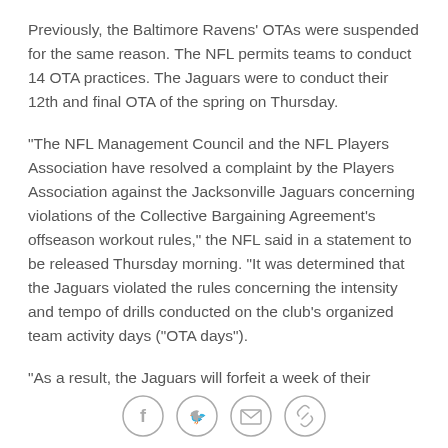Previously, the Baltimore Ravens' OTAs were suspended for the same reason. The NFL permits teams to conduct 14 OTA practices. The Jaguars were to conduct their 12th and final OTA of the spring on Thursday.
"The NFL Management Council and the NFL Players Association have resolved a complaint by the Players Association against the Jacksonville Jaguars concerning violations of the Collective Bargaining Agreement's offseason workout rules," the NFL said in a statement to be released Thursday morning. "It was determined that the Jaguars violated the rules concerning the intensity and tempo of drills conducted on the club's organized team activity days ("OTA days").
"As a result, the Jaguars will forfeit a week of their
[Figure (other): Social sharing icons: Facebook, Twitter, Email, Link]